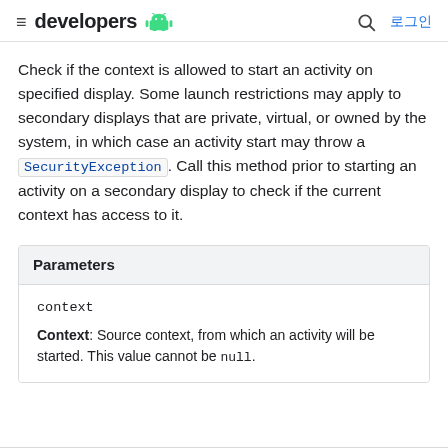≡ developers [android logo] 🔍 로그인
Check if the context is allowed to start an activity on specified display. Some launch restrictions may apply to secondary displays that are private, virtual, or owned by the system, in which case an activity start may throw a SecurityException. Call this method prior to starting an activity on a secondary display to check if the current context has access to it.
| Parameters |
| --- |
| context | Context: Source context, from which an activity will be started. This value cannot be null. |